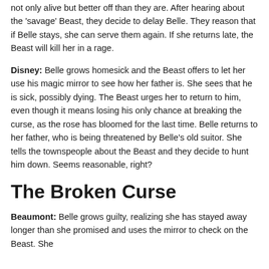not only alive but better off than they are. After hearing about the 'savage' Beast, they decide to delay Belle. They reason that if Belle stays, she can serve them again. If she returns late, the Beast will kill her in a rage.
Disney: Belle grows homesick and the Beast offers to let her use his magic mirror to see how her father is. She sees that he is sick, possibly dying. The Beast urges her to return to him, even though it means losing his only chance at breaking the curse, as the rose has bloomed for the last time. Belle returns to her father, who is being threatened by Belle's old suitor. She tells the townspeople about the Beast and they decide to hunt him down. Seems reasonable, right?
The Broken Curse
Beaumont: Belle grows guilty, realizing she has stayed away longer than she promised and uses the mirror to check on the Beast. She